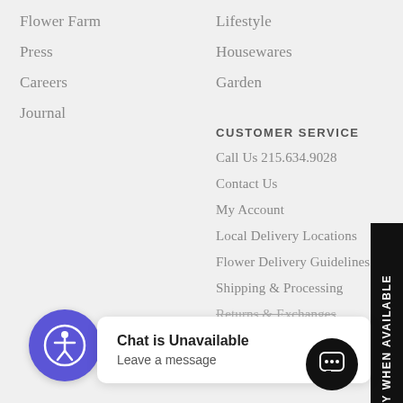Flower Farm
Lifestyle
Press
Housewares
Careers
Garden
Journal
CUSTOMER SERVICE
Call Us 215.634.9028
Contact Us
My Account
Local Delivery Locations
Flower Delivery Guidelines
Shipping & Processing
Returns & Exchanges
Privacy & Terms
[Figure (logo): Accessibility icon button - blue circle with white person figure]
NOTIFY WHEN AVAILABLE
Chat is Unavailable
Leave a message
[Figure (other): Chat icon button - black circle with speech bubble dots]